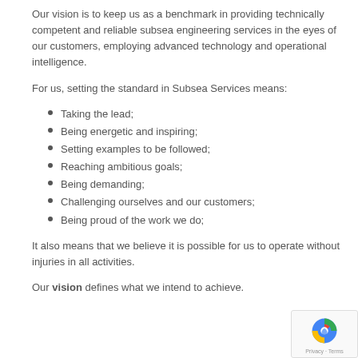Our vision is to keep us as a benchmark in providing technically competent and reliable subsea engineering services in the eyes of our customers, employing advanced technology and operational intelligence.
For us, setting the standard in Subsea Services means:
Taking the lead;
Being energetic and inspiring;
Setting examples to be followed;
Reaching ambitious goals;
Being demanding;
Challenging ourselves and our customers;
Being proud of the work we do;
It also means that we believe it is possible for us to operate without injuries in all activities.
Our vision defines what we intend to achieve.